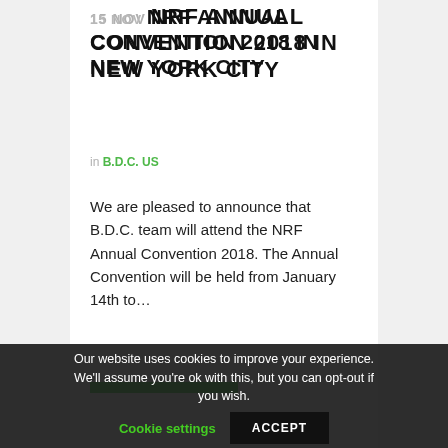15 NOV NRF ANNUAL CONVENTION 2018 IN NEW YORK CITY
in B.D.C. US
We are pleased to announce that B.D.C. team will attend the NRF Annual Convention 2018. The Annual Convention will be held from January 14th to…
Our website uses cookies to improve your experience. We'll assume you're ok with this, but you can opt-out if you wish. Cookie settings ACCEPT